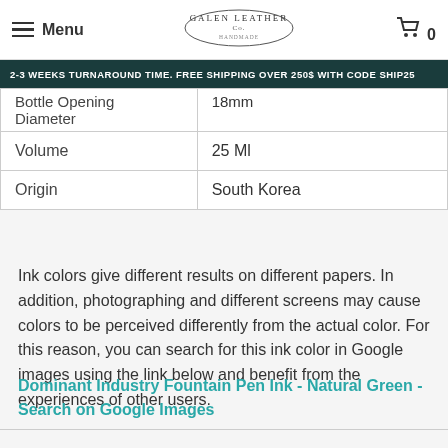Menu | Galen Leather Co. | 0
2-3 WEEKS TURNAROUND TIME. FREE SHIPPING OVER 250$ WITH CODE SHIP25
| Bottle Opening Diameter | 18mm |
| Volume | 25 Ml |
| Origin | South Korea |
Ink colors give different results on different papers. In addition, photographing and different screens may cause colors to be perceived differently from the actual color. For this reason, you can search for this ink color in Google images using the link below and benefit from the experiences of other users.
Dominant Industry Fountain Pen Ink - Natural Green - Search on Google Images